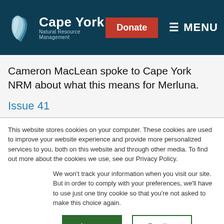[Figure (logo): Cape York Natural Resource Management logo with stylized leaf/feather icon in blue and white tones, and text 'Cape York Natural Resource Management']
Cameron MacLean spoke to Cape York NRM about what this means for Merluna.
Issue 41
This website stores cookies on your computer. These cookies are used to improve your website experience and provide more personalized services to you, both on this website and through other media. To find out more about the cookies we use, see our Privacy Policy.
We won't track your information when you visit our site. But in order to comply with your preferences, we'll have to use just one tiny cookie so that you're not asked to make this choice again.